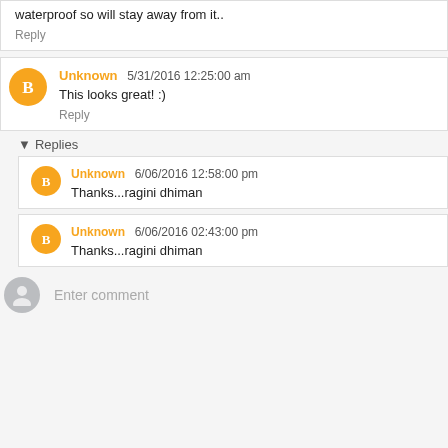waterproof so will stay away from it..
Reply
Unknown 5/31/2016 12:25:00 am
This looks great! :)
Reply
▾ Replies
Unknown 6/06/2016 12:58:00 pm
Thanks...ragini dhiman
Unknown 6/06/2016 02:43:00 pm
Thanks...ragini dhiman
Enter comment